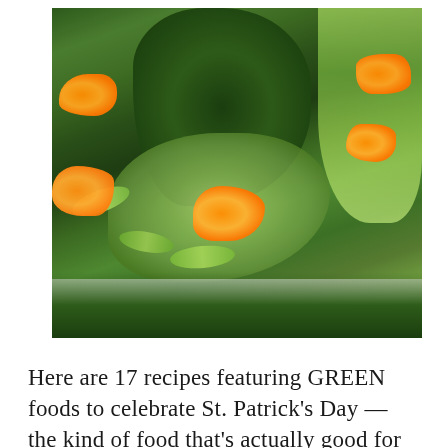[Figure (photo): Close-up overhead photo of a green salad on a white plate featuring dark leafy greens (kale/spinach), light green lettuce, cucumber slices, broccoli, and several orange mandarin/clementine segments scattered throughout.]
Here are 17 recipes featuring GREEN foods to celebrate St. Patrick's Day — the kind of food that's actually good for you!